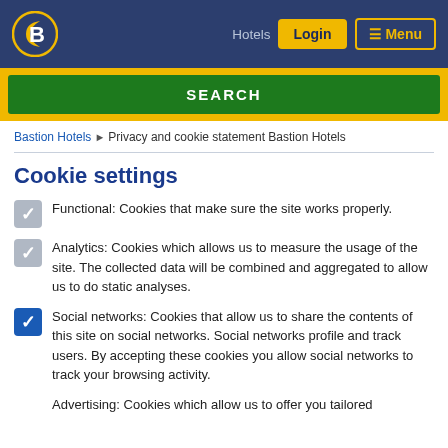Hotels | Login | Menu
SEARCH
Bastion Hotels > Privacy and cookie statement Bastion Hotels
Cookie settings
Functional: Cookies that make sure the site works properly.
Analytics: Cookies which allows us to measure the usage of the site. The collected data will be combined and aggregated to allow us to do static analyses.
Social networks: Cookies that allow us to share the contents of this site on social networks. Social networks profile and track users. By accepting these cookies you allow social networks to track your browsing activity.
Advertising: Cookies which allow us to offer you tailored